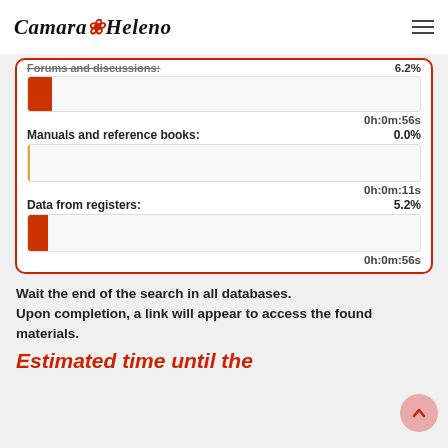Camara Heleno
[Figure (bar-chart): Forums and discussions / Manuals and reference books / Data from registers]
Wait the end of the search in all databases.
Upon completion, a link will appear to access the found materials.
Estimated time until the